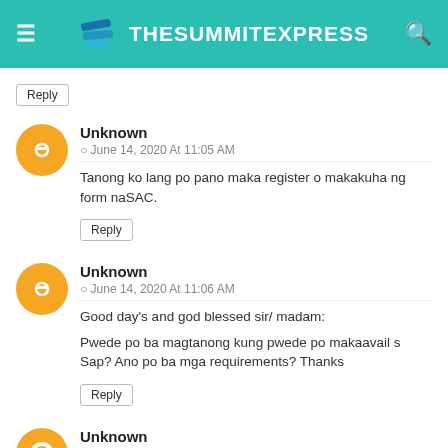TheSummitExpress
Reply
Unknown
June 14, 2020 At 11:05 AM
Tanong ko lang po pano maka register o makakuha ng form naSAC.
Reply
Unknown
June 14, 2020 At 11:06 AM
Good day's and god blessed sir/ madam:

Pwede po ba magtanong kung pwede po makaavail s Sap? Ano po ba mga requirements? Thanks
Reply
Unknown
June 14, 2020 At 11:07 AM